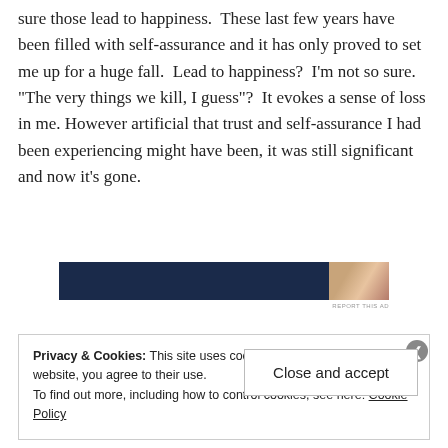sure those lead to happiness.  These last few years have been filled with self-assurance and it has only proved to set me up for a huge fall.  Lead to happiness?  I'm not so sure.  "The very things we kill, I guess"?  It evokes a sense of loss in me.  However artificial that trust and self-assurance I had been experiencing might have been, it was still significant and now it's gone.
[Figure (other): Advertisement banner with dark navy blue panel on the left and a close-up image of a person's eyes on the right, with 'REPORT THIS AD' text below]
Privacy & Cookies: This site uses cookies. By continuing to use this website, you agree to their use.
To find out more, including how to control cookies, see here: Cookie Policy
Close and accept